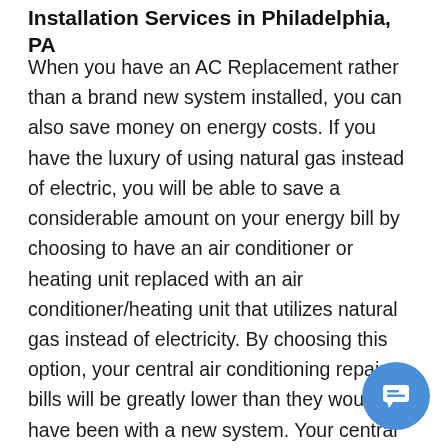Installation Services in Philadelphia, PA
When you have an AC Replacement rather than a brand new system installed, you can also save money on energy costs. If you have the luxury of using natural gas instead of electric, you will be able to save a considerable amount on your energy bill by choosing to have an air conditioner or heating unit replaced with an air conditioner/heating unit that utilizes natural gas instead of electricity. By choosing this option, your central air conditioning repair bills will be greatly lower than they would have been with a new system. Your central air conditioning repair service should be able to give you further details regarding how much energy you can save with this change, but for most homes, the cost savings will be considerable. If you have an air conditioning repair